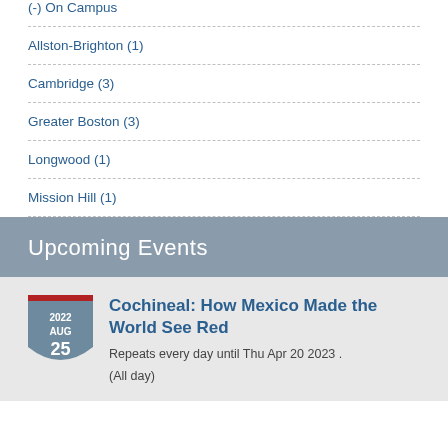(-) On Campus
Allston-Brighton (1)
Cambridge (3)
Greater Boston (3)
Longwood (1)
Mission Hill (1)
Upcoming Events
[Figure (illustration): Calendar badge icon showing 2022 AUG 25 with a shield shape and red top bar]
Cochineal: How Mexico Made the World See Red
Repeats every day until Thu Apr 20 2023 .
(All day)